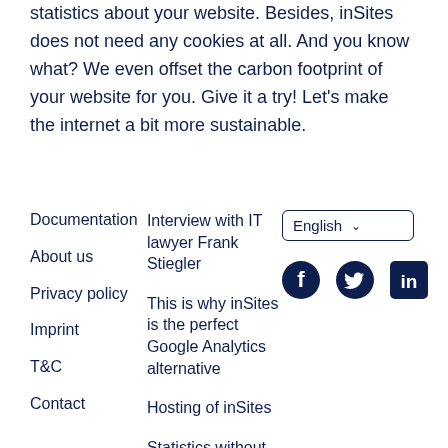statistics about your website. Besides, inSites does not need any cookies at all. And you know what? We even offset the carbon footprint of your website for you. Give it a try! Let's make the internet a bit more sustainable.
Documentation
About us
Privacy policy
Imprint
T&C
Contact
Interview with IT lawyer Frank Stiegler
This is why inSites is the perfect Google Analytics alternative
Hosting of inSites
Statistics without personal data
English
[Figure (illustration): Social media icons: Facebook (circular dark navy icon), Twitter (circular dark navy bird icon), LinkedIn (dark navy square with 'in' logo)]